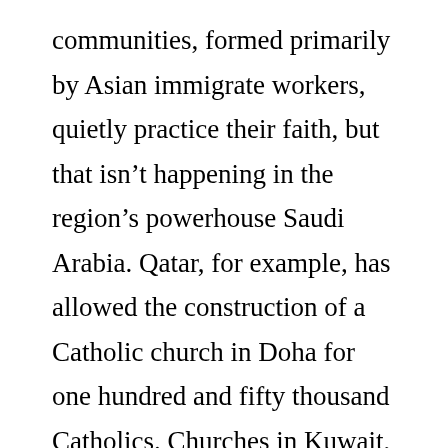communities, formed primarily by Asian immigrate workers, quietly practice their faith, but that isn't happening in the region's powerhouse Saudi Arabia. Qatar, for example, has allowed the construction of a Catholic church in Doha for one hundred and fifty thousand Catholics. Churches in Kuwait, Bahrain and the United Arab Emirates are seen as a way to lure expatriate labor to those countries. These Gulf States have survived the political torrents of the Arab spring, but should they fall to street protests, successor regimes likely would resemble Saudi Arabia today, which forbids Christian worship by the estimated eight hundred thousand Catholics in the kingdom. The Saudis...